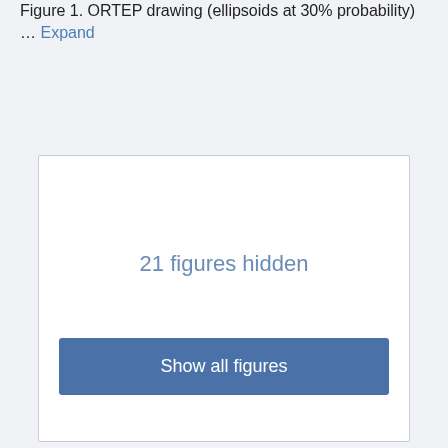Figure 1. ORTEP drawing (ellipsoids at 30% probability) … Expand
[Figure (other): A placeholder box indicating 21 figures are hidden, with a 'Show all figures' button.]